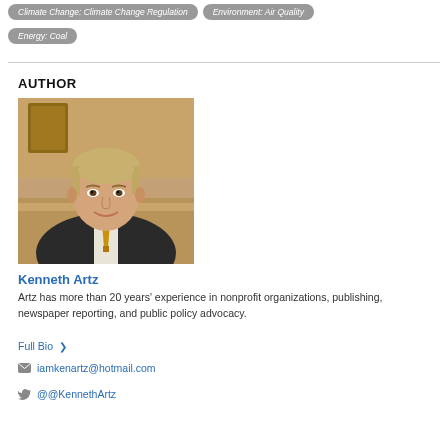Climate Change: Climate Change Regulation
Environment: Air Quality
Energy: Coal
AUTHOR
[Figure (photo): Portrait photo of Kenneth Artz, a middle-aged man in a dark suit and gold tie, smiling, seated on a striped sofa with a warm background.]
Kenneth Artz
Artz has more than 20 years' experience in nonprofit organizations, publishing, newspaper reporting, and public policy advocacy.
Full Bio >
iamkenartz@hotmail.com
@@KennethArtz